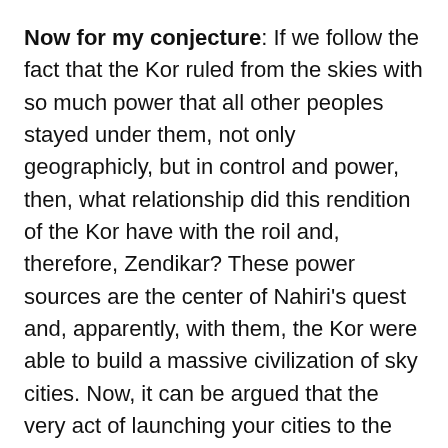Now for my conjecture: If we follow the fact that the Kor ruled from the skies with so much power that all other peoples stayed under them, not only geographicly, but in control and power, then, what relationship did this rendition of the Kor have with the roil and, therefore, Zendikar? These power sources are the center of Nahiri's quest and, apparently, with them, the Kor were able to build a massive civilization of sky cities. Now, it can be argued that the very act of launching your cities to the sky gets you well out of range of the roil. But, I'm not sure about that. I think it can be said that possibly these ancient Kor found power to either/or protect them from the roil or subdue it altogether.
This brings us to the question of how the power of